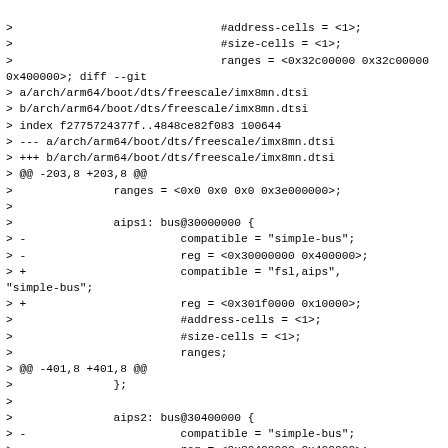>                               #address-cells = <1>;
>                               #size-cells = <1>;
>                               ranges = <0x32c00000 0x32c00000
0x400000>; diff --git
> a/arch/arm64/boot/dts/freescale/imx8mn.dtsi
> b/arch/arm64/boot/dts/freescale/imx8mn.dtsi
> index f2775724377f..4848ce82f083 100644
> --- a/arch/arm64/boot/dts/freescale/imx8mn.dtsi
> +++ b/arch/arm64/boot/dts/freescale/imx8mn.dtsi
> @@ -203,8 +203,8 @@
>               ranges = <0x0 0x0 0x0 0x3e000000>;
>
>               aips1: bus@30000000 {
> -                       compatible = "simple-bus";
> -                       reg = <0x30000000 0x400000>;
> +                       compatible = "fsl,aips",
"simple-bus";
> +                       reg = <0x301f0000 0x10000>;
>                         #address-cells = <1>;
>                         #size-cells = <1>;
>                         ranges;
> @@ -401,8 +401,8 @@
>               };
>
>               aips2: bus@30400000 {
> -                       compatible = "simple-bus";
> -                       reg = <0x30400000 0x400000>;
> +                       compatible = "fsl,aips",
"simple-bus";
> +                       reg = <0x305f0000 0x10000>;